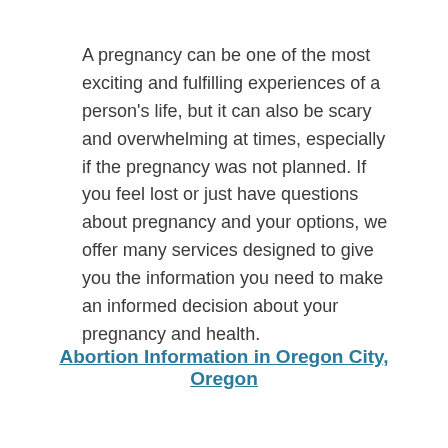A pregnancy can be one of the most exciting and fulfilling experiences of a person's life, but it can also be scary and overwhelming at times, especially if the pregnancy was not planned. If you feel lost or just have questions about pregnancy and your options, we offer many services designed to give you the information you need to make an informed decision about your pregnancy and health.
Abortion Information in Oregon City, Oregon